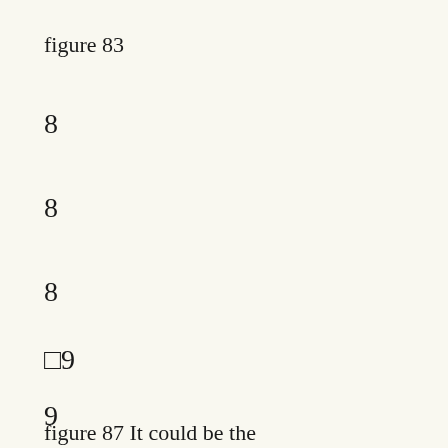figure 83
8
8
8
□9
9
figure 87 It could be the